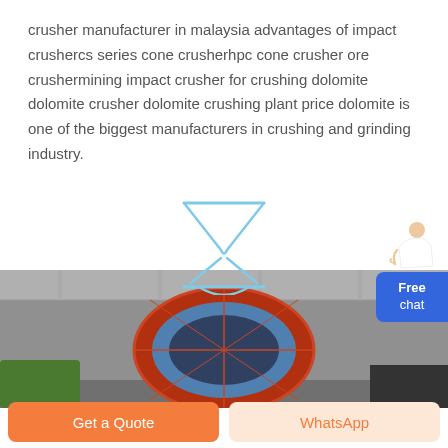crusher manufacturer in malaysia advantages of impact crushercs series cone crusherhpc cone crusher ore crushermining impact crusher for crushing dolomite dolomite crusher dolomite crushing plant price dolomite is one of the biggest manufacturers in crushing and grinding industry.
[Figure (illustration): Hourglass / loading spinner icon drawn in light blue outline style]
[Figure (illustration): Chat widget on the right side showing a customer service person figure and a blue rounded button labeled 'Free chat']
[Figure (photo): Industrial photo of a large red and blue ball mill or crusher machine inside a factory/warehouse]
Get a Quote
WhatsApp